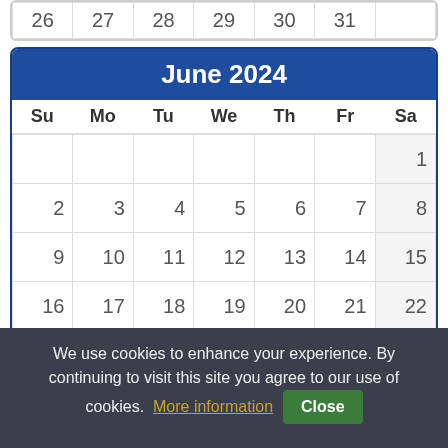| Su | Mo | Tu | We | Th | Fr | Sa |
| --- | --- | --- | --- | --- | --- | --- |
| 26 | 27 | 28 | 29 | 30 | 31 |  |
June 2024
| Su | Mo | Tu | We | Th | Fr | Sa |
| --- | --- | --- | --- | --- | --- | --- |
|  |  |  |  |  |  | 1 |
| 2 | 3 | 4 | 5 | 6 | 7 | 8 |
| 9 | 10 | 11 | 12 | 13 | 14 | 15 |
| 16 | 17 | 18 | 19 | 20 | 21 | 22 |
| 23 | 24 | 25 | 26 | 27 | 28 | 29 |
| 30 |  |  |  |  |  |  |
July 2024
| Su | Mo | Tu | We | Th | Fr | Sa |
| --- | --- | --- | --- | --- | --- | --- |
We use cookies to enhance your experience. By continuing to visit this site you agree to our use of cookies. More information Close